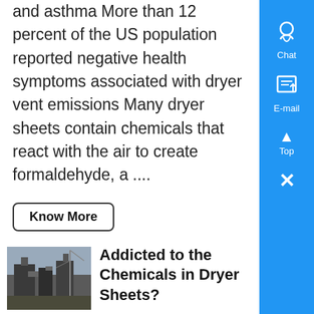and asthma More than 12 percent of the US population reported negative health symptoms associated with dryer vent emissions Many dryer sheets contain chemicals that react with the air to create formaldehyde, a ....
Know More
[Figure (photo): Industrial facility or chemical plant machinery, dark tones]
Addicted to the Chemicals in Dryer Sheets?
The Scary Truth About Chemicals in Dryer Sheets Fabric Softeners Of the 3 10 gallons of toxic cleaning products in a home, the chemicals in dryer sheets and fabric softeners are considered to be among the most toxicFabric softeners and dryer sheets ,...